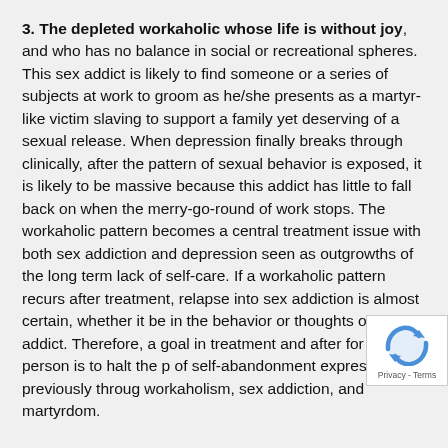3. The depleted workaholic whose life is without joy, and who has no balance in social or recreational spheres. This sex addict is likely to find someone or a series of subjects at work to groom as he/she presents as a martyr-like victim slaving to support a family yet deserving of a sexual release. When depression finally breaks through clinically, after the pattern of sexual behavior is exposed, it is likely to be massive because this addict has little to fall back on when the merry-go-round of work stops. The workaholic pattern becomes a central treatment issue with both sex addiction and depression seen as outgrowths of the long term lack of self-care. If a workaholic pattern recurs after treatment, relapse into sex addiction is almost certain, whether it be in the behavior or thoughts of the addict. Therefore, a goal in treatment and after for this person is to halt the p of self-abandonment expressed previously throug workaholism, sex addiction, and martyrdom.